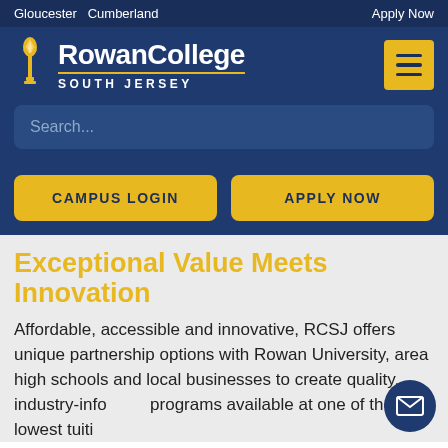Gloucester  Cumberland  Apply Now
[Figure (logo): Rowan College South Jersey logo with torch icon]
Search...
CAMPUS LOGIN
APPLY NOW
Exceptional Value Meets Innovation
Affordable, accessible and innovative, RCSJ offers unique partnership options with Rowan University, area high schools and local businesses to create quality, industry-info programs available at one of the lowest tuiti